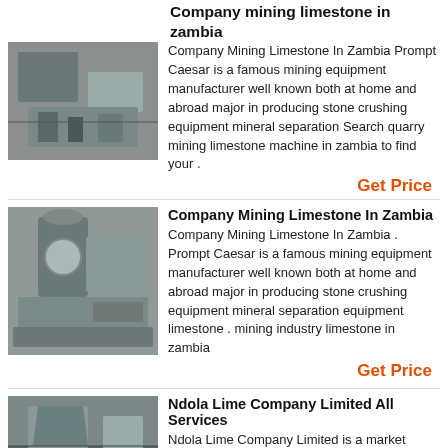Company mining limestone in zambia
Company Mining Limestone In Zambia Prompt Caesar is a famous mining equipment manufacturer well known both at home and abroad major in producing stone crushing equipment mineral separation Search quarry mining limestone machine in zambia to find your .
Get Price
Company Mining Limestone In Zambia
Company Mining Limestone In Zambia . Prompt Caesar is a famous mining equipment manufacturer well known both at home and abroad major in producing stone crushing equipment mineral separation equipment limestone . mining industry limestone in zambia
Get Price
Ndola Lime Company Limited All Services
Ndola Lime Company Limited is a market leader in production and supply of limestone products in Zambia and SADC/COMESA region. Made from high quality natural deposits of limestone and meeting exacting chemical and physical properties Ndola Lime has a broad range of lime and limestone products to the world's highest of accuracy to offer.